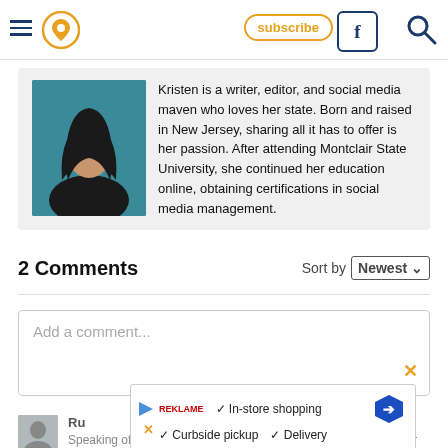Navigation header with hamburger menu, location pin icon, Facebook button, subscribe button, and search icon
[Figure (photo): Author photo: woman with long dark hair against teal background]
Kristen is a writer, editor, and social media maven who loves her state. Born and raised in New Jersey, sharing all it has to offer is her passion. After attending Montclair State University, she continued her education online, obtaining certifications in social media management.
2 Comments
Sort by Newest
Add a comment...
[Figure (screenshot): Advertisement overlay showing In-store shopping, Curbside pickup, Delivery options with a blue navigation arrow icon]
Ru
Speaking of Taylor Ham, it is not New Jersey's. I remember Taylor Ham as one of many cold cuts in our deli's and butcher